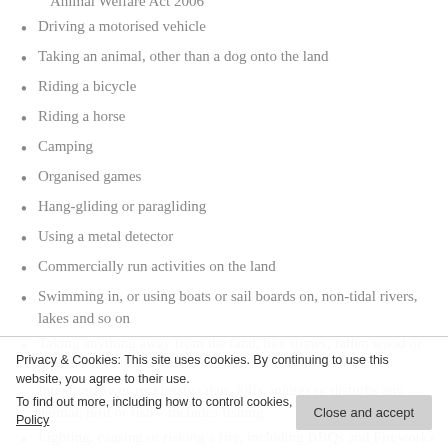Near livestock – Possible other offences under the Animal Welfare Act 2006
Driving a motorised vehicle
Taking an animal, other than a dog onto the land
Riding a bicycle
Riding a horse
Camping
Organised games
Hang-gliding or paragliding
Using a metal detector
Commercially run activities on the land
Swimming in, or using boats or sail boards on, non-tidal rivers, lakes and so on
Taking anything away from the land, like stones, fallen wood or plants
Intentionally or recklessly takes, kills, injures or disturbs any animal, bird or fish – includes fishing
Lighting, causing or risking a fire, including BBQs and Fireworks
Damaging hedges, fences, walls, crops or anything